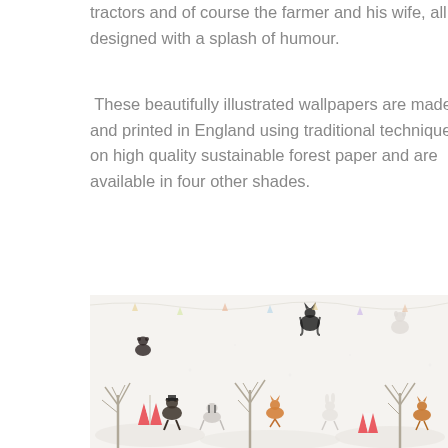tractors and of course the farmer and his wife, all designed with a splash of humour.
These beautifully illustrated wallpapers are made and printed in England using traditional techniques on high quality sustainable forest paper and are available in four other shades.
[Figure (illustration): A wallpaper pattern featuring illustrated woodland animals and characters in winter scenes, including foxes, badgers, bears, rabbits and other animals dressed in clothing, set against a snowy white background with bare trees, tents, and festive decorations.]